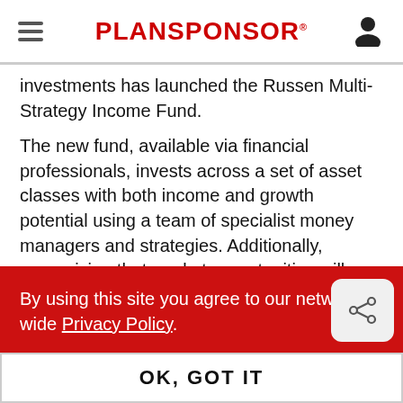PLANSPONSOR
investments has launched the Russen Multi-Strategy Income Fund.
The new fund, available via financial professionals, invests across a set of asset classes with both income and growth potential using a team of specialist money managers and strategies. Additionally, recognizing that market opportunities will likely change over the course of an investor's time horizon, the fund has built-
By using this site you agree to our network wide Privacy Policy.
OK, GOT IT